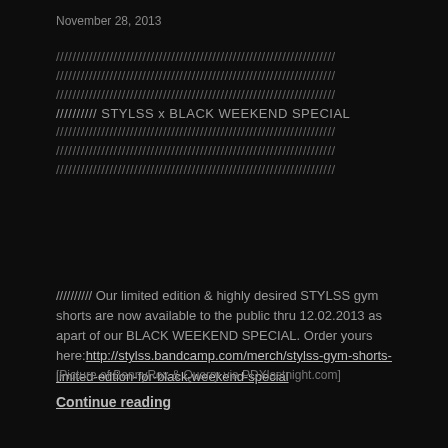November 28, 2013
[Figure (illustration): Decorative slash pattern lines with 'STYLSS x BLACK WEEKEND SPECIAL' text embedded in the middle]
////////// Our limited edition & highly desired STYLSS gym shorts are now available to the public thru 12.02.2013 as apart of our BLACK WEEKEND SPECIAL. Order yours here: http://stylss.bandcamp.com/merch/stylss-gym-shorts-limited-edtion-for-black-weekend-special
[Picture of BennyRox & Quarry via PDXlastnight.com]
Continue reading